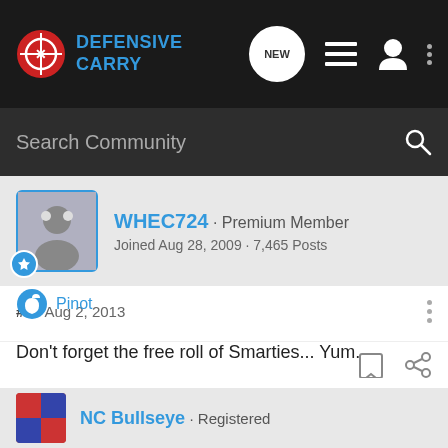Defensive Carry
Search Community
WHEC724 · Premium Member
Joined Aug 28, 2009 · 7,465 Posts
#3 · Aug 2, 2013
Don't forget the free roll of Smarties... Yum.
Pinot
NC Bullseye · Registered